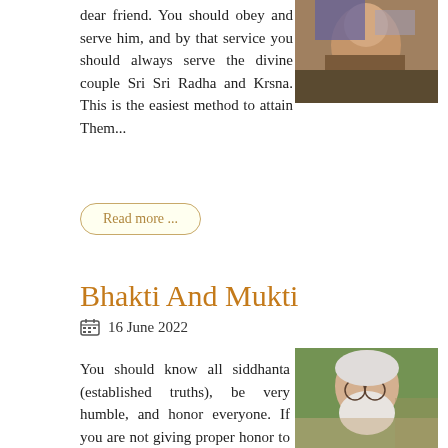dear friend. You should obey and serve him, and by that service you should always serve the divine couple Sri Sri Radha and Krsna. This is the easiest method to attain Them...
[Figure (photo): Photo of a spiritual figure or ceremony, partially visible at top right]
Read more ...
Bhakti And Mukti
16 June 2022
You should know all siddhanta (established truths), be very humble, and honor everyone. If you are not giving proper honor to others, and instead you are
[Figure (photo): Photo of an elderly Indian spiritual teacher with white beard and glasses]